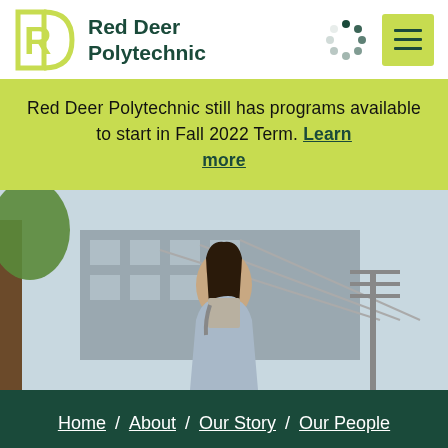Red Deer Polytechnic
Red Deer Polytechnic still has programs available to start in Fall 2022 Term. Learn more
[Figure (photo): A young woman with long dark hair stands outdoors on a university campus, wearing a light grey sweater and a light blue jacket, with a large tree trunk and a modern building with glass canopy structure visible in the background.]
Home / About / Our Story / Our People